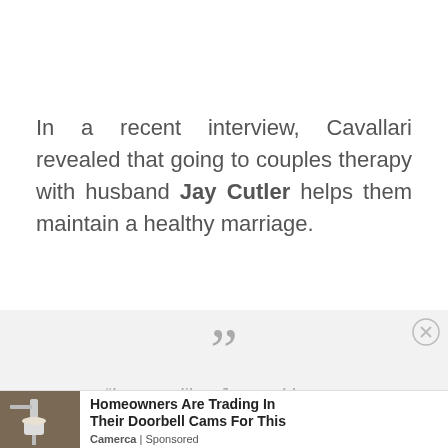In a recent interview, Cavallari revealed that going to couples therapy with husband Jay Cutler helps them maintain a healthy marriage.
[Figure (other): Large grey quotation mark on a light grey background block]
“I mean, like, Jay and I – our relationship – I’m very honest,” the
[Figure (other): Advertisement banner: Homeowners Are Trading In Their Doorbell Cams For This - Camerca | Sponsored, with a photo of an outdoor wall light]